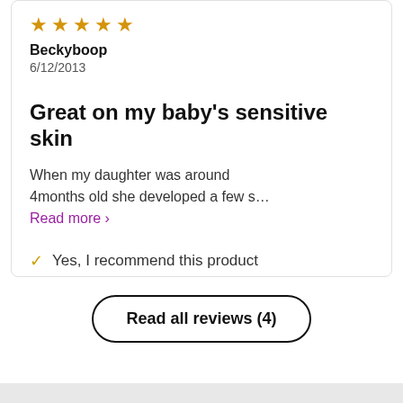[Figure (other): Five gold star rating icons]
Beckyboop
6/12/2013
Great on my baby's sensitive skin
When my daughter was around 4months old she developed a few s… Read more ›
✓ Yes, I recommend this product
Read all reviews (4)